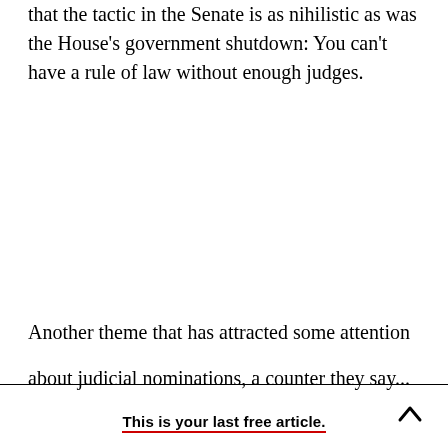that the tactic in the Senate is as nihilistic as was the House's government shutdown: You can't have a rule of law without enough judges.
Another theme that has attracted some attention about judicial nominations, a counter they say...
This is your last free article.